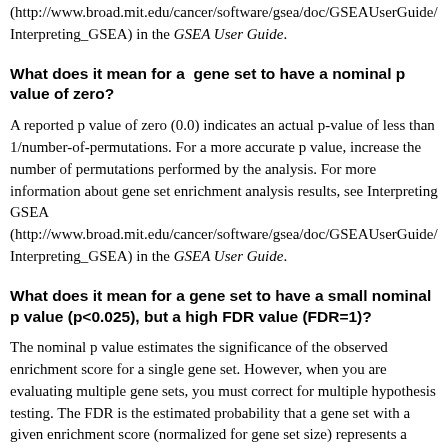(http://www.broad.mit.edu/cancer/software/gsea/doc/GSEAUserGuide/Interpreting_GSEA) in the GSEA User Guide.
What does it mean for a  gene set to have a nominal p value of zero?
A reported p value of zero (0.0) indicates an actual p-value of less than 1/number-of-permutations. For a more accurate p value, increase the number of permutations performed by the analysis. For more information about gene set enrichment analysis results, see Interpreting GSEA (http://www.broad.mit.edu/cancer/software/gsea/doc/GSEAUserGuide/Interpreting_GSEA) in the GSEA User Guide.
What does it mean for a gene set to have a small nominal p value (p<0.025), but a high FDR value (FDR=1)?
The nominal p value estimates the significance of the observed enrichment score for a single gene set. However, when you are evaluating multiple gene sets, you must correct for multiple hypothesis testing. The FDR is the estimated probability that a gene set with a given enrichment score (normalized for gene set size) represents a false positive finding.